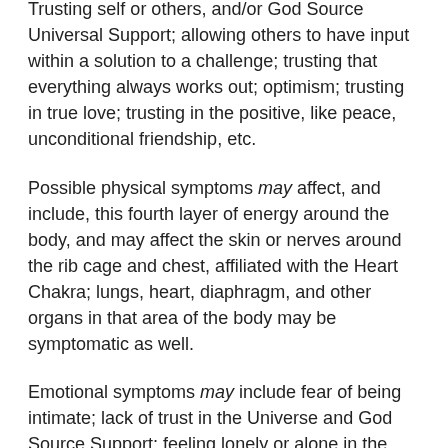Trusting self or others, and/or God Source Universal Support; allowing others to have input within a solution to a challenge; trusting that everything always works out; optimism; trusting in true love; trusting in the positive, like peace, unconditional friendship, etc.
Possible physical symptoms may affect, and include, this fourth layer of energy around the body, and may affect the skin or nerves around the rib cage and chest, affiliated with the Heart Chakra; lungs, heart, diaphragm, and other organs in that area of the body may be symptomatic as well.
Emotional symptoms may include fear of being intimate; lack of trust in the Universe and God Source Support; feeling lonely or alone in the world; feeling unloved by self and others, including God Source Universal Energy; Critical